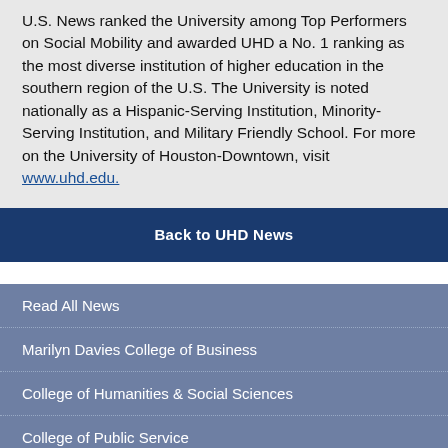U.S. News ranked the University among Top Performers on Social Mobility and awarded UHD a No. 1 ranking as the most diverse institution of higher education in the southern region of the U.S. The University is noted nationally as a Hispanic-Serving Institution, Minority-Serving Institution, and Military Friendly School. For more on the University of Houston-Downtown, visit www.uhd.edu.
Back to UHD News
Read All News
Marilyn Davies College of Business
College of Humanities & Social Sciences
College of Public Service
College of Sciences & Technology